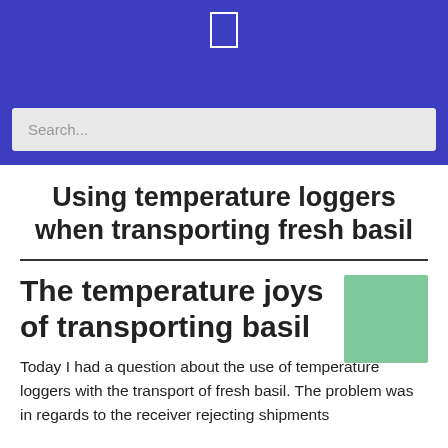Using temperature loggers when transporting fresh basil
The temperature joys of transporting basil
Today I had a question about the use of temperature loggers with the transport of fresh basil. The problem was in regards to the receiver rejecting shipments